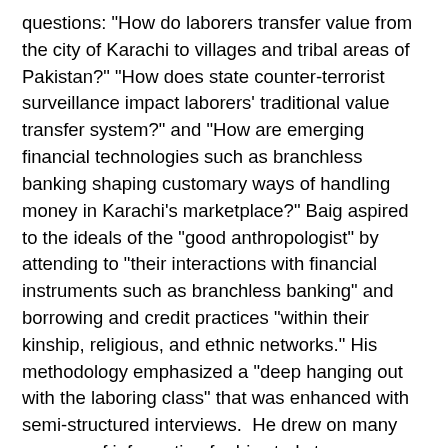questions: "How do laborers transfer value from the city of Karachi to villages and tribal areas of Pakistan?" "How does state counter-terrorist surveillance impact laborers' traditional value transfer system?" and "How are emerging financial technologies such as branchless banking shaping customary ways of handling money in Karachi's marketplace?" Baig aspired to the ideals of the "good anthropologist" by attending to "their interactions with financial instruments such as branchless banking" and borrowing and credit practices "within their kinship, religious, and ethnic networks." His methodology emphasized a "deep hanging out with the laboring class" that was enhanced with semi-structured interviews.  He drew on many sources of information for his study to understand the experiences of his core group of laborers and migrants, including retail agents, Easypaisa staff, State Bank of Pakistan representatives, employees of the Habib Metropolitan Bank, currency dealers, and money lenders.
In negotiating alternatives, the Pakistan Post offered money orders, which were extremely slow but carried low fees.  Commercial banks charge significant transfer fee and might